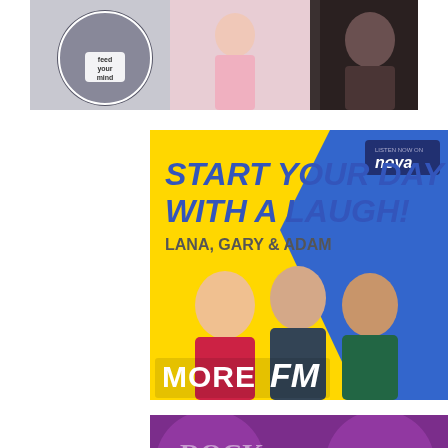[Figure (photo): Top banner showing multiple people including a man in a white t-shirt with a circular logo, a person in pink, and a darker background on right]
[Figure (advertisement): More FM radio advertisement on yellow and blue background reading 'START YOUR DAY WITH A LAUGH! LANA, GARY & ADAM' with three presenters and MORE FM logo, Listen Now on nova branding in top right]
[Figure (advertisement): Partially visible purple advertisement at bottom of page with circular design elements and white text beginning to show]